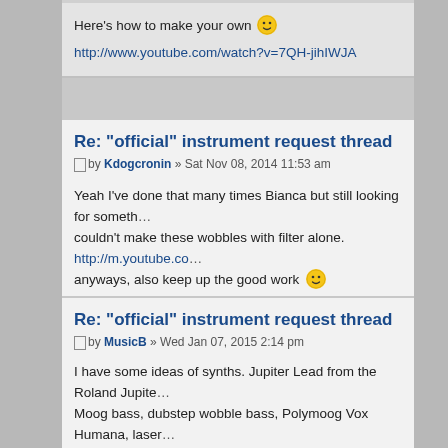Here's how to make your own 😀
http://www.youtube.com/watch?v=7QH-jihIWJA
Re: "official" instrument request thread
by Kdogcronin » Sat Nov 08, 2014 11:53 am
Yeah I've done that many times Bianca but still looking for something, I couldn't make these wobbles with filter alone. http://m.youtube.co... anyways, also keep up the good work 😀
Re: "official" instrument request thread
by MusicB » Wed Jan 07, 2015 2:14 pm
I have some ideas of synths. Jupiter Lead from the Roland Jupite... Moog bass, dubstep wobble bass, Polymoog Vox Humana, laser... pulse, charang, chiff lead, Fargo from Yamaha keyboards, Analog... Atmosphere, Goblins, Crystal, Juno Hoover, 80's Synth Brass, Te... Techno synth pads leads and basses, dubstep saw bass. And to... as a Strings Piano sound and 80's/70's string synth sounds. And ...
Last edited by MusicB on Thu Feb 12, 2015 1:37 am, edited 1 time in total.